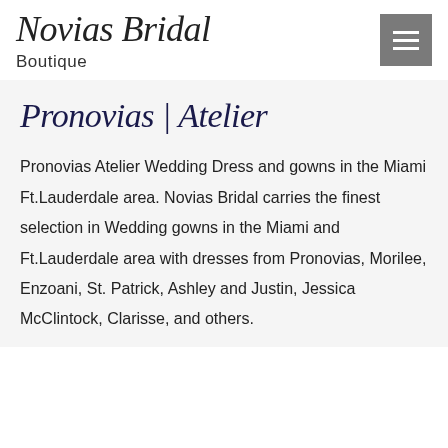Novias Bridal Boutique
Pronovias | Atelier
Pronovias Atelier Wedding Dress and gowns in the Miami Ft.Lauderdale area. Novias Bridal carries the finest selection in Wedding gowns in the Miami and Ft.Lauderdale area with dresses from Pronovias, Morilee, Enzoani, St. Patrick, Ashley and Justin, Jessica McClintock, Clarisse, and others.